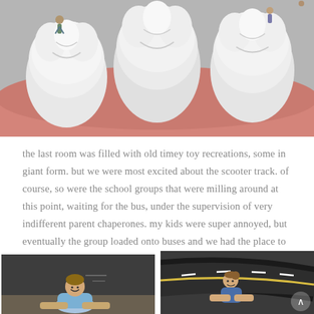[Figure (photo): Large model of teeth/molars viewed from above, with children playing on or around the giant dental model in what appears to be a museum exhibit. The teeth are white and the gums are pink/orange.]
the last room was filled with old timey toy recreations, some in giant form. but we were most excited about the scooter track. of course, so were the school groups that were milling around at this point, waiting for the bus, under the supervision of very indifferent parent chaperones. my kids were super annoyed, but eventually the group loaded onto buses and we had the place to ourselves. which was lovely.
[Figure (photo): A child sitting on the floor in a large room, smiling at the camera. The room appears to be part of a museum with a dark painted wall behind them.]
[Figure (photo): A girl or young woman sitting on a scooter track at a museum, with a curved track surface visible. She is wearing a blue top and has her hair up.]